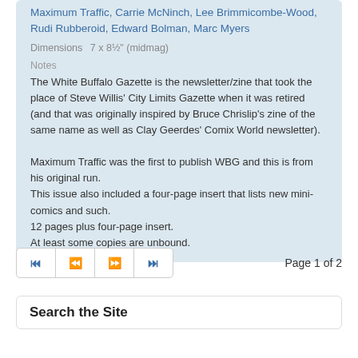Maximum Traffic, Carrie McNinch, Lee Brimmicombe-Wood, Rudi Rubberoid, Edward Bolman, Marc Myers
Dimensions  7 x 8½" (midmag)
Notes
The White Buffalo Gazette is the newsletter/zine that took the place of Steve Willis' City Limits Gazette when it was retired (and that was originally inspired by Bruce Chrislip's zine of the same name as well as Clay Geerdes' Comix World newsletter).
Maximum Traffic was the first to publish WBG and this is from his original run.
This issue also included a four-page insert that lists new mini-comics and such.
12 pages plus four-page insert.
At least some copies are unbound.
Page 1 of 2
Search the Site